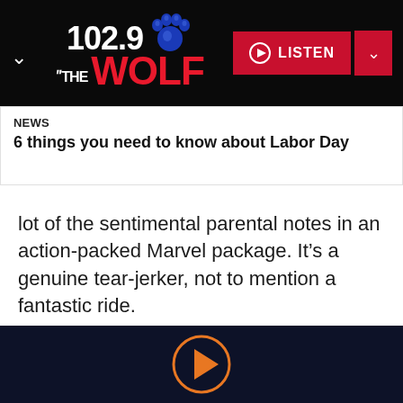[Figure (logo): 102.9 The Wolf radio station logo with blue paw print and red lettering, plus LISTEN button and chevron]
NEWS
6 things you need to know about Labor Day
lot of the sentimental parental notes in an action-packed Marvel package. It’s a genuine tear-jerker, not to mention a fantastic ride.
Watch now on Amazon Prime Video
[Figure (other): Orange play button circle icon on dark navy background]